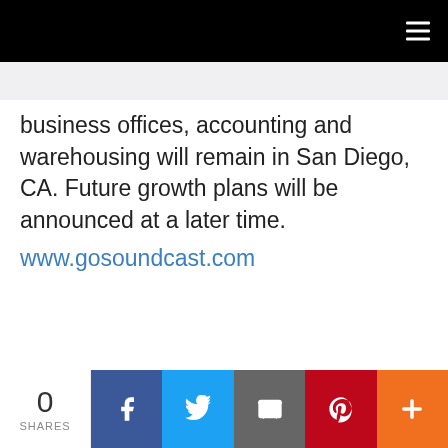Navigation bar
business offices, accounting and warehousing will remain in San Diego, CA. Future growth plans will be announced at a later time.
www.gosoundcast.com
0 SHARES | Facebook | Twitter | Email | Pinterest | More